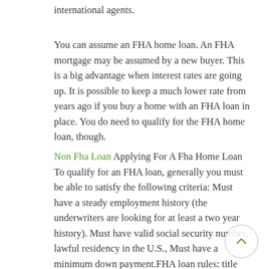international agents.
You can assume an FHA home loan. An FHA mortgage may be assumed by a new buyer. This is a big advantage when interest rates are going up. It is possible to keep a much lower rate from years ago if you buy a home with an FHA loan in place. You do need to qualify for the FHA home loan, though.
Non Fha Loan Applying For A Fha Home Loan To qualify for an FHA loan, generally you must be able to satisfy the following criteria: Must have a steady employment history (the underwriters are looking for at least a two year history). Must have valid social security number, lawful residency in the U.S., Must have a minimum down payment.FHA loan rules: title issues Non-Borrowing Co-Owners. There are plenty of